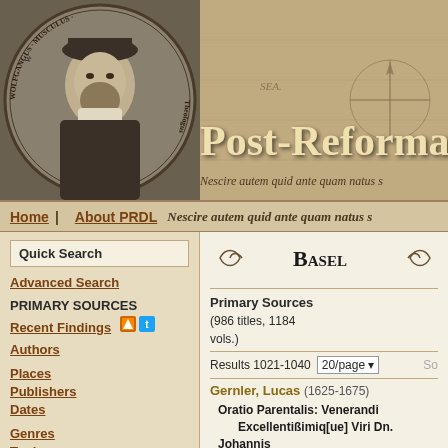[Figure (screenshot): Website header with portrait engraving of Wolfgangus Musculus Theologus on the left and decorative map background on the right with 'Post-Reforma' title text and Latin subtitle]
Home | About PRDL | Nescire autem quid ante quam natus s
Quick Search
Advanced Search
PRIMARY SOURCES
Recent Findings
Authors
Places
Publishers
Dates
Genres
Topics
Biblical
Scholastica
OTHER RESOURCES
Secondary Sources
Reference
BASEL
Primary Sources (986 titles, 1184 vols.)
Results 1021-1040  20/page
Gernler, Lucas (1625-1675)
Oratio Parentalis: Venerandi Excellentißimiq[ue] Viri Dn. Johannis Buxtorfii, SS. Theol. Doctoris, Veteris Testamenti, & Linguae Sanctae in Academia Basiliensi meritissimi ac celeberrimi Professoris, beatis manib dicata, Et ibidem in aestiva Theologorum Aula Sexto Kalendas Martias Anno MDCLXV ... (Basileae, 1665)